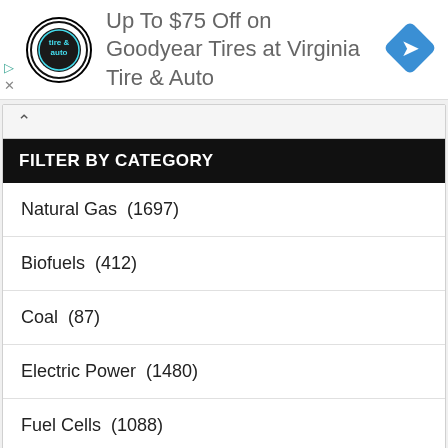[Figure (other): Advertisement banner for Virginia Tire & Auto showing logo, text 'Up To $75 Off on Goodyear Tires at Virginia Tire & Auto', and a blue navigation arrow diamond icon]
FILTER BY CATEGORY
Natural Gas  (1697)
Biofuels  (412)
Coal  (87)
Electric Power  (1480)
Fuel Cells  (1088)
Geothermal  (807)
Hydro  (238)
Nuclear  (106)